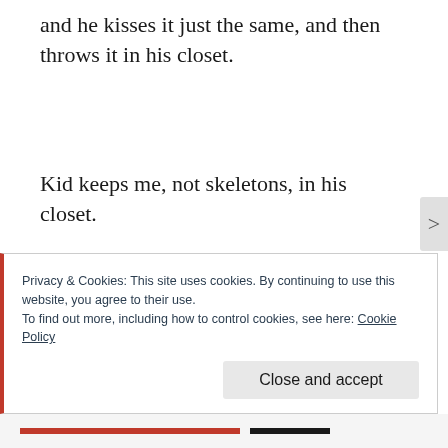and he kisses it just the same, and then throws it in his closet.
Kid keeps me, not skeletons, in his closet.
“But it’s yours that’s cruel,” I said. Sometimes it’s loud, like mine. Sometimes it’s
Privacy & Cookies: This site uses cookies. By continuing to use this website, you agree to their use.
To find out more, including how to control cookies, see here: Cookie Policy
Close and accept